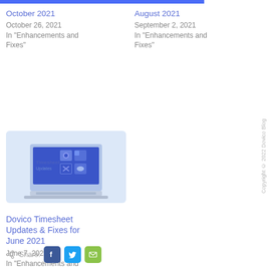October 2021
October 26, 2021
In "Enhancements and Fixes"
August 2021
September 2, 2021
In "Enhancements and Fixes"
[Figure (screenshot): Thumbnail image showing a laptop with blue background and icons, labeled 'Timesheet Updates']
Dovico Timesheet Updates & Fixes for June 2021
June 7, 2021
In "Enhancements and Fixes"
Copyright © 2022 Dovico Blog
Share: Facebook Twitter Email